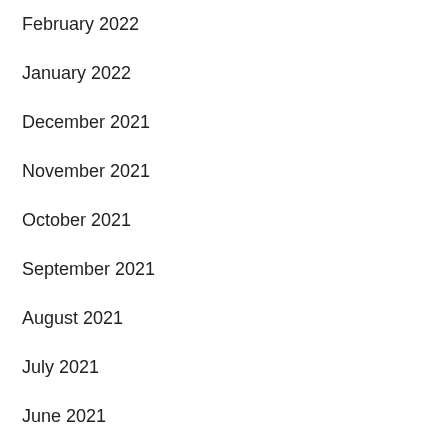February 2022
January 2022
December 2021
November 2021
October 2021
September 2021
August 2021
July 2021
June 2021
Categories
2084
COVID-19